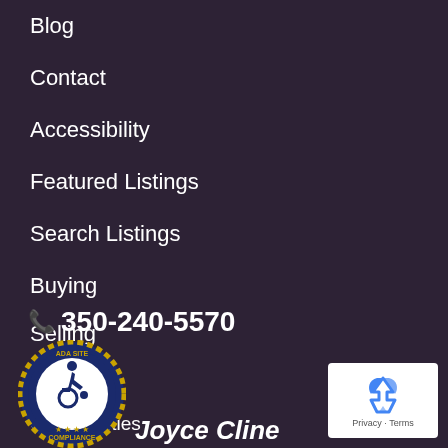Blog
Contact
Accessibility
Featured Listings
Search Listings
Buying
Selling
About
Communities
📞 350-240-5570
[Figure (logo): ADA Site Compliance badge with wheelchair accessibility icon]
[Figure (logo): reCAPTCHA widget showing recycling arrows logo with Privacy and Terms text]
Joyce Cline